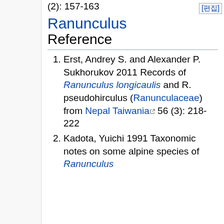(2): 157-163
Ranunculus Reference
Erst, Andrey S. and Alexander P. Sukhorukov 2011 Records of Ranunculus longicaulis and R. pseudohirculus (Ranunculaceae) from Nepal Taiwania 56 (3): 218-222
Kadota, Yuichi 1991 Taxonomic notes on some alpine species of Ranunculus